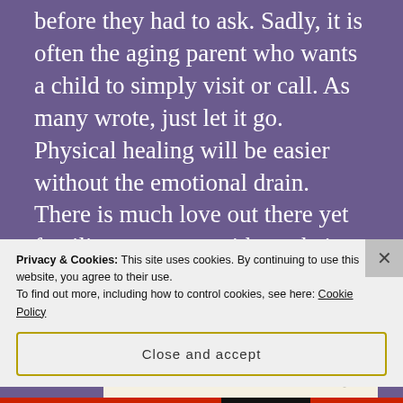before they had to ask. Sadly, it is often the aging parent who wants a child to simply visit or call. As many wrote, just let it go. Physical healing will be easier without the emotional drain. There is much love out there yet families are never without their own conflicts. Hugs to you, my friend!
[Figure (other): Advertisement box: 'Professionally designed sites in less than a week' with WordPress logo]
Privacy & Cookies: This site uses cookies. By continuing to use this website, you agree to their use. To find out more, including how to control cookies, see here: Cookie Policy
Close and accept